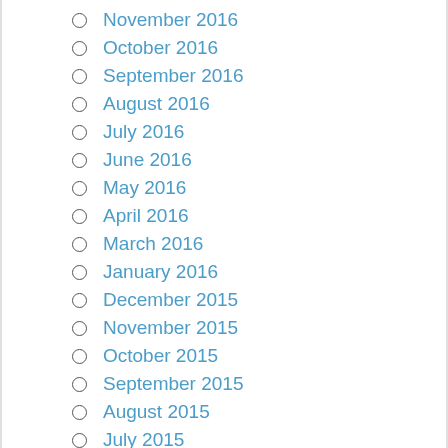November 2016
October 2016
September 2016
August 2016
July 2016
June 2016
May 2016
April 2016
March 2016
January 2016
December 2015
November 2015
October 2015
September 2015
August 2015
July 2015
June 2015
May 2015
April 2015
March 2015